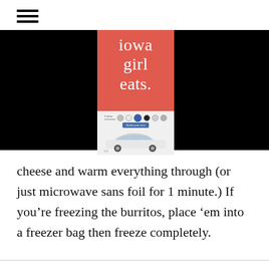iowa girl eats.
[Figure (screenshot): Iowa Girl Eats blog logo on red background with white serif text reading 'iowa girl eats.' Below is an advertisement showing a white SUV car with color selection circles and a button.]
cheese and warm everything through (or just microwave sans foil for 1 minute.) If you’re freezing the burritos, place ‘em into a freezer bag then freeze completely.